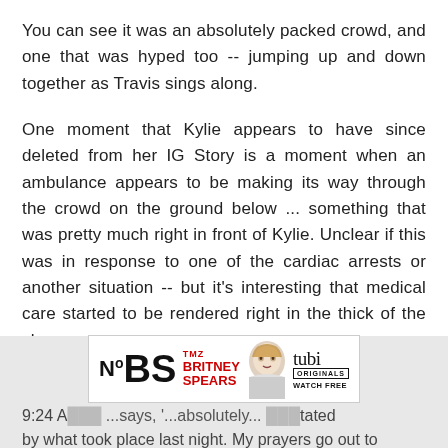You can see it was an absolutely packed crowd, and one that was hyped too -- jumping up and down together as Travis sings along.
One moment that Kylie appears to have since deleted from her IG Story is a moment when an ambulance appears to be making its way through the crowd on the ground below ... something that was pretty much right in front of Kylie. Unclear if this was in response to one of the cardiac arrests or another situation -- but it's interesting that medical care started to be rendered right in the thick of the show.
[Figure (infographic): Advertisement banner for TMZ 'No BS Britney Spears' show on Tubi Originals - Watch Free]
9:24 A... ...says, '...absolutely... ...tated by what took place last night. My prayers go out to